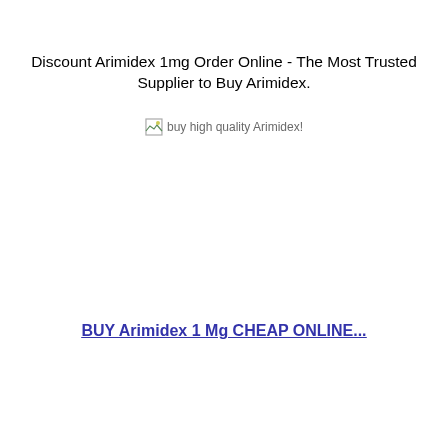Discount Arimidex 1mg Order Online - The Most Trusted Supplier to Buy Arimidex.
[Figure (other): Broken image placeholder with alt text: buy high quality Arimidex!]
BUY Arimidex 1 Mg CHEAP ONLINE...